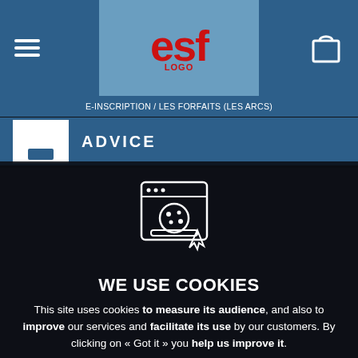[Figure (screenshot): ESF website navigation bar with hamburger menu on left, ESF logo in red in center on light blue background, shopping bag icon on right]
E-INSCRIPTION / LES FORFAITS (LES ARCS)
ADVICE
[Figure (illustration): Cookie icon: browser window with cookie and cursor illustration in white outline]
WE USE COOKIES
This site uses cookies to measure its audience, and also to improve our services and facilitate its use by our customers. By clicking on « Got it » you help us improve it.
GOT IT
Learn more